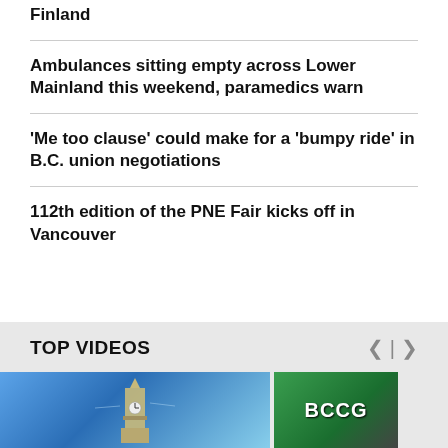Finland
Ambulances sitting empty across Lower Mainland this weekend, paramedics warn
'Me too clause' could make for a 'bumpy ride' in B.C. union negotiations
112th edition of the PNE Fair kicks off in Vancouver
TOP VIDEOS
[Figure (photo): Video thumbnail showing parliament building against a blue sky]
[Figure (photo): Video thumbnail showing a BCCG sign in green]